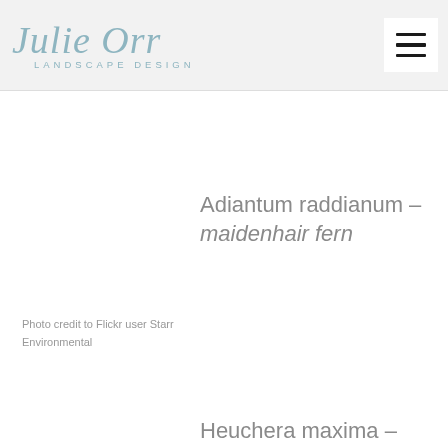[Figure (logo): Julie Orr Landscape Design logo in script font with teal/dusty blue color]
Adiantum raddianum – maidenhair fern
Photo credit to Flickr user Starr Environmental
Heuchera maxima – coral